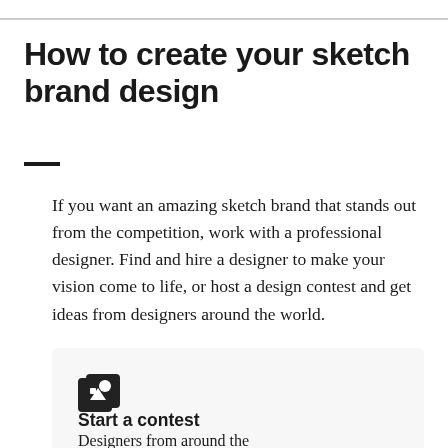How to create your sketch brand design
If you want an amazing sketch brand that stands out from the competition, work with a professional designer. Find and hire a designer to make your vision come to life, or host a design contest and get ideas from designers around the world.
Start a contest
Designers from around the